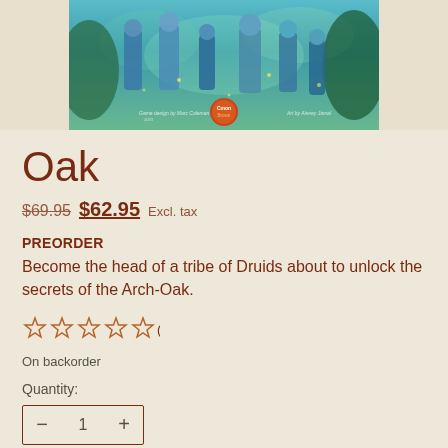[Figure (illustration): Product image showing fantasy artwork of druids in a teal/blue mystical forest setting with 'Cmon' logo in the center bottom]
Oak
$69.95 $62.95 Excl. tax
PREORDER
Become the head of a tribe of Druids about to unlock the secrets of the Arch-Oak.
☆ ☆ ☆ ☆ ☆ (0)
On backorder
Quantity:
— 1 +